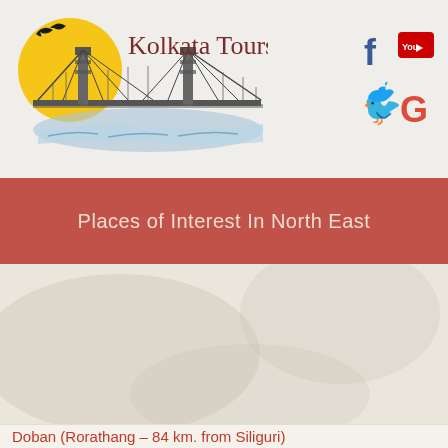[Figure (logo): Kolkata Tours logo with Howrah Bridge illustration and a bird silhouette on a yellow sun circle, with text 'Kolkata Tours' in dark red serif font]
[Figure (infographic): Social media icons: Facebook (f), YouTube (You), Twitter (bird), Google (G) in their brand colors]
Places of Interest In North East
[Figure (photo): Large textured background area, appears to be a scenic landscape or blank content area with light beige/cream texture]
Doban (Rorathang – 84 km. from Siliguri)